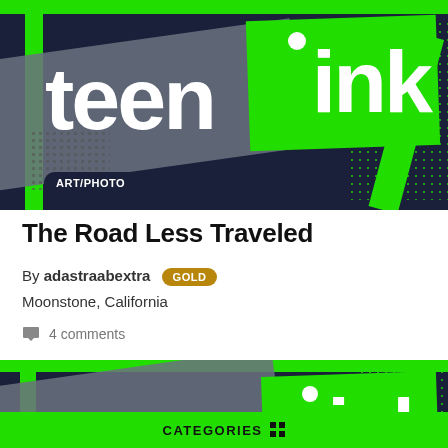[Figure (logo): Teen Ink logo banner with dark navy background, green accent box, and white bold text reading 'teen ink'. Art/Photo badge at bottom left.]
The Road Less Traveled
By adastraabextra GOLD
Moonstone, California
4 comments
[Figure (logo): Partial Teen Ink logo banner (second article card), same style as above, partially visible at bottom of page.]
CATEGORIES